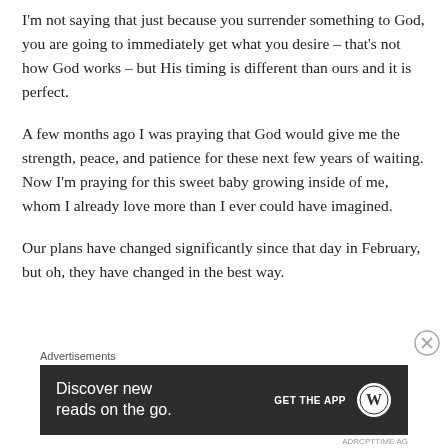I'm not saying that just because you surrender something to God, you are going to immediately get what you desire – that's not how God works – but His timing is different than ours and it is perfect.
A few months ago I was praying that God would give me the strength, peace, and patience for these next few years of waiting. Now I'm praying for this sweet baby growing inside of me, whom I already love more than I ever could have imagined.
Our plans have changed significantly since that day in February, but oh, they have changed in the best way.
[Figure (screenshot): Advertisement banner for WordPress app: 'Discover new reads on the go. GET THE APP' with WordPress logo on dark background.]